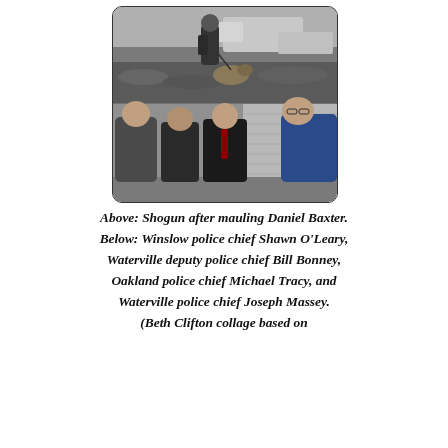[Figure (photo): Collage of two photos: top image shows a police K9 handler with a dog on a leash in a muddy outdoor area with trucks in background (black and white); bottom image shows four men standing together outdoors — Winslow police chief Shawn O'Leary, Waterville deputy police chief Bill Bonney, Oakland police chief Michael Tracy, and Waterville police chief Joseph Massey.]
Above: Shogun after mauling Daniel Baxter. Below: Winslow police chief Shawn O'Leary, Waterville deputy police chief Bill Bonney, Oakland police chief Michael Tracy, and Waterville police chief Joseph Massey. (Beth Clifton collage based on